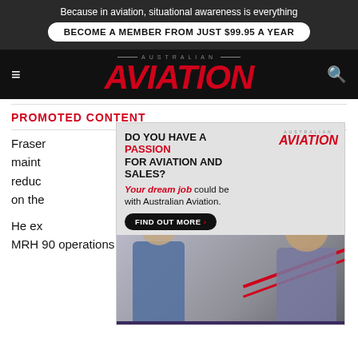Because in aviation, situational awareness is everything
BECOME A MEMBER FROM JUST $99.95 A YEAR
[Figure (logo): Australian Aviation magazine logo with AVIATION in large red italic bold text]
PROMOTED CONTENT
[Figure (infographic): Advertisement: DO YOU HAVE A PASSION FOR AVIATION AND SALES? Your dream job could be with Australian Aviation. FIND OUT MORE button. QinetiQ - Enabling critical UAS technologies strip at bottom.]
Fraser... of maint... as we reduc... and on the...
He ex... ort to MRH 90 operations at Townsville, but at the moment